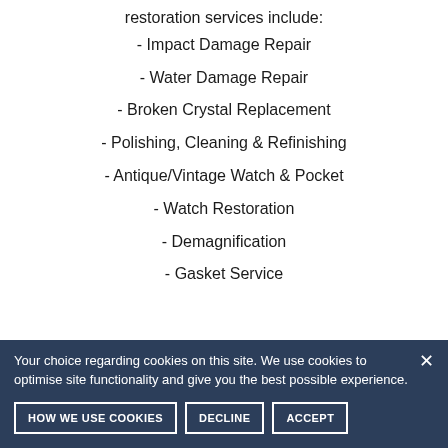restoration services include:
- Impact Damage Repair
- Water Damage Repair
- Broken Crystal Replacement
- Polishing, Cleaning & Refinishing
- Antique/Vintage Watch & Pocket
- Watch Restoration
- Demagnification
- Gasket Service
Your choice regarding cookies on this site. We use cookies to optimise site functionality and give you the best possible experience.
HOW WE USE COOKIES | DECLINE | ACCEPT